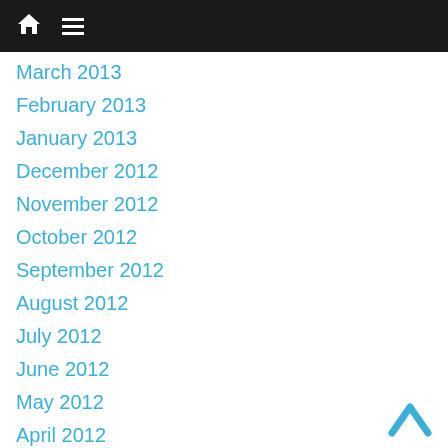Navigation bar with home and menu icons
March 2013
February 2013
January 2013
December 2012
November 2012
October 2012
September 2012
August 2012
July 2012
June 2012
May 2012
April 2012
March 2012
February 2012
January 2012
December 2011